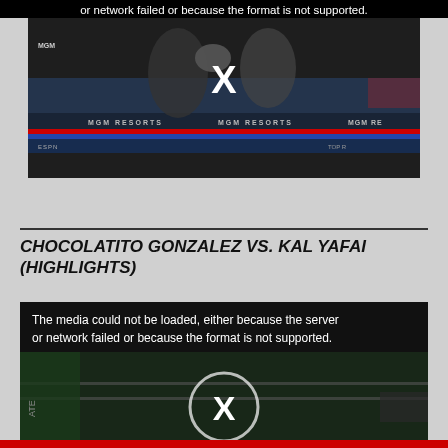or network failed or because the format is not supported.
[Figure (screenshot): Boxing match video thumbnail showing two fighters in a ring with MGM Resorts branding and ESPN logos. Video player shows error with X mark.]
CHOCOLATITO GONZALEZ VS. KAL YAFAI (HIGHLIGHTS)
[Figure (screenshot): Second boxing match video player showing error message: The media could not be loaded, either because the server or network failed or because the format is not supported. Shows X in circle over boxing ring background.]